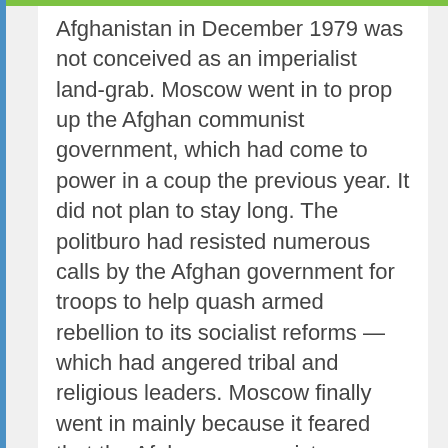Afghanistan in December 1979 was not conceived as an imperialist land-grab. Moscow went in to prop up the Afghan communist government, which had come to power in a coup the previous year. It did not plan to stay long. The politburo had resisted numerous calls by the Afghan government for troops to help quash armed rebellion to its socialist reforms — which had angered tribal and religious leaders. Moscow finally went in mainly because it feared that the Afghan communist president, Hafizullah Amin, was cosying up to America. Elite KGB special forces were flown into Bagram to help stage a coup. In a textbook raid, they took the